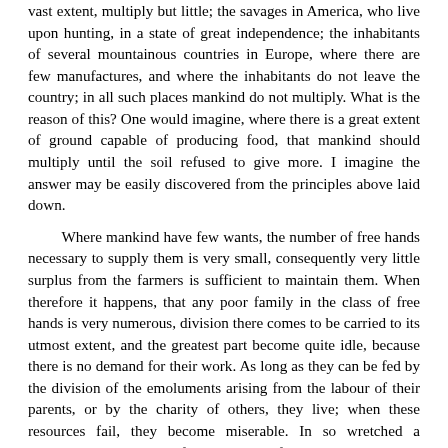vast extent, multiply but little; the savages in America, who live upon hunting, in a state of great independence; the inhabitants of several mountainous countries in Europe, where there are few manufactures, and where the inhabitants do not leave the country; in all such places mankind do not multiply. What is the reason of this? One would imagine, where there is a great extent of ground capable of producing food, that mankind should multiply until the soil refused to give more. I imagine the answer may be easily discovered from the principles above laid down.
Where mankind have few wants, the number of free hands necessary to supply them is very small, consequently very little surplus from the farmers is sufficient to maintain them. When therefore it happens, that any poor family in the class of free hands is very numerous, division there comes to be carried to its utmost extent, and the greatest part become quite idle, because there is no demand for their work. As long as they can be fed by the division of the emoluments arising from the labour of their parents, or by the charity of others, they live; when these resources fail, they become miserable. In so wretched a situation it is not easy to find bread. The farmers will not double their diligence from a charitable disposition. Those who have land will not allow those indigent people a liberty to raise grain in it for